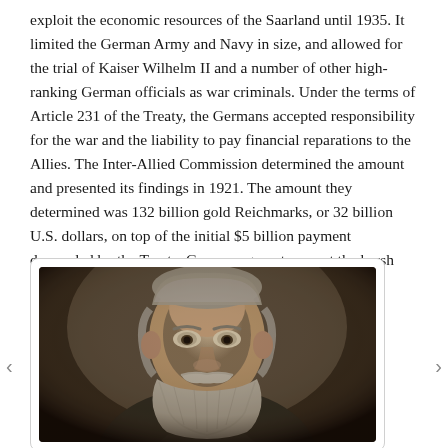exploit the economic resources of the Saarland until 1935. It limited the German Army and Navy in size, and allowed for the trial of Kaiser Wilhelm II and a number of other high-ranking German officials as war criminals. Under the terms of Article 231 of the Treaty, the Germans accepted responsibility for the war and the liability to pay financial reparations to the Allies. The Inter-Allied Commission determined the amount and presented its findings in 1921. The amount they determined was 132 billion gold Reichmarks, or 32 billion U.S. dollars, on top of the initial $5 billion payment demanded by the Treaty. Germans grew to resent the harsh conditions imposed by the Treaty of Versailles.
[Figure (photo): Black and white (sepia-toned) portrait photograph of an older gentleman with white/grey hair and a full beard and mustache, wearing a suit with white collar, photographed from the chest upward, facing slightly to the right.]